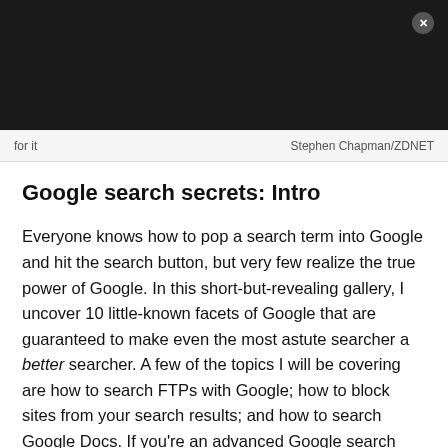for it   Stephen Chapman/ZDNET
Google search secrets: Intro
Everyone knows how to pop a search term into Google and hit the search button, but very few realize the true power of Google. In this short-but-revealing gallery, I uncover 10 little-known facets of Google that are guaranteed to make even the most astute searcher a better searcher. A few of the topics I will be covering are how to search FTPs with Google; how to block sites from your search results; and how to search Google Docs. If you're an advanced Google search novice, that's okay!